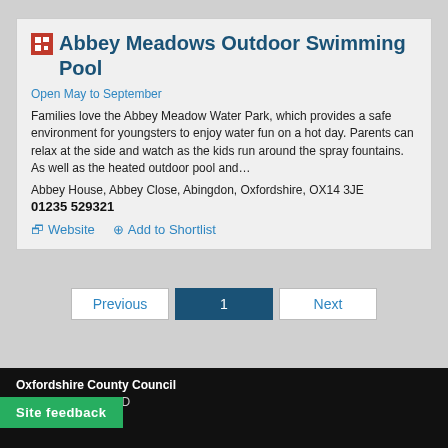Abbey Meadows Outdoor Swimming Pool
Open May to September
Families love the Abbey Meadow Water Park, which provides a safe environment for youngsters to enjoy water fun on a hot day. Parents can relax at the side and watch as the kids run around the spray fountains. As well as the heated outdoor pool and…
Abbey House, Abbey Close, Abingdon, Oxfordshire, OX14 3JE
01235 529321
Website  Add to Shortlist
Previous  1  Next
Oxfordshire County Council
ad, Oxford, OX1 1ND
Site feedback